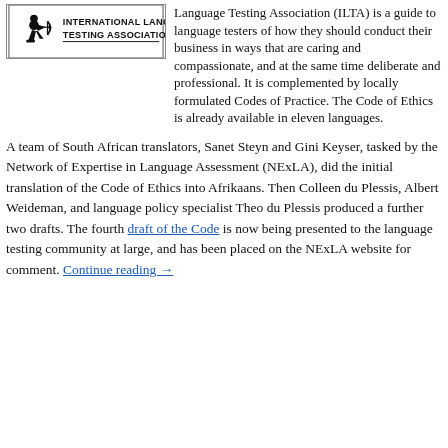[Figure (logo): ILTA International Language Testing Association logo with a kneeling archer figure on the left and the text 'INTERNATIONAL LANGUAGE TESTING ASSOCIATION' on the right]
Language Testing Association (ILTA) is a guide to language testers of how they should conduct their business in ways that are caring and compassionate, and at the same time deliberate and professional. It is complemented by locally formulated Codes of Practice. The Code of Ethics is already available in eleven languages.
A team of South African translators, Sanet Steyn and Gini Keyser, tasked by the Network of Expertise in Language Assessment (NExLA), did the initial translation of the Code of Ethics into Afrikaans. Then Colleen du Plessis, Albert Weideman, and language policy specialist Theo du Plessis produced a further two drafts. The fourth draft of the Code is now being presented to the language testing community at large, and has been placed on the NExLA website for comment. Continue reading →